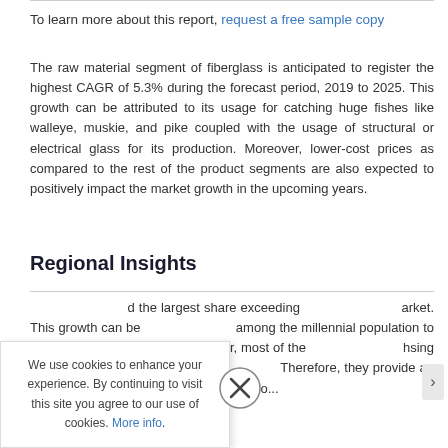To learn more about this report, request a free sample copy
The raw material segment of fiberglass is anticipated to register the highest CAGR of 5.3% during the forecast period, 2019 to 2025. This growth can be attributed to its usage for catching huge fishes like walleye, muskie, and pike coupled with the usage of structural or electrical glass for its production. Moreover, lower-cost prices as compared to the rest of the product segments are also expected to positively impact the market growth in the upcoming years.
Regional Insights
In 2018, North America held the largest share exceeding the market. This growth can be attributed among the millennial population to ice fishing. Moreover, most of the ice fishing are located near greenery Therefore, they provide an family fishing. Mo...
We use cookies to enhance your experience. By continuing to visit this site you agree to our use of cookies. More info.